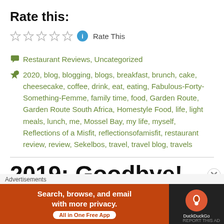Rate this:
★☆☆☆☆  ℹ  Rate This
Restaurant Reviews, Uncategorized
2020, blog, blogging, blogs, breakfast, brunch, cake, cheesecake, coffee, drink, eat, eating, Fabulous-Forty-Something-Femme, family time, food, Garden Route, Garden Route South Africa, Homestyle Food, life, light meals, lunch, me, Mossel Bay, my life, myself, Reflections of a Misfit, reflectionsofamisfit, restaurant review, review, Sekelbos, travel, travel blog, travels
2019: Goodbye!
Advertisements
[Figure (screenshot): DuckDuckGo advertisement banner: 'Search, browse, and email with more privacy. All in One Free App' with DuckDuckGo logo on dark background]